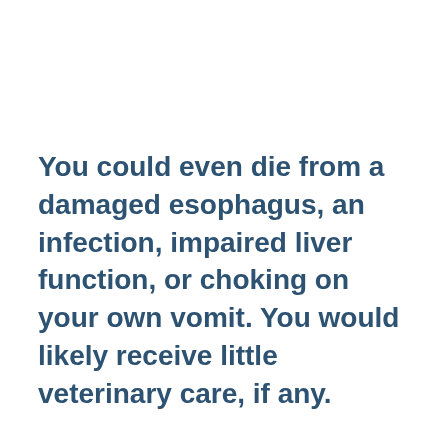You could even die from a damaged esophagus, an infection, impaired liver function, or choking on your own vomit. You would likely receive little veterinary care, if any.